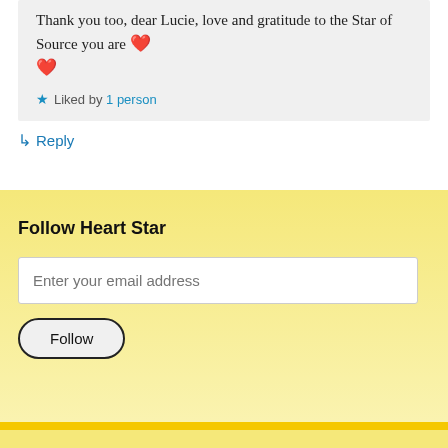Thank you too, dear Lucie, love and gratitude to the Star of Source you are ❤️ ❤️
★ Liked by 1 person
↳ Reply
Follow Heart Star
Enter your email address
Follow